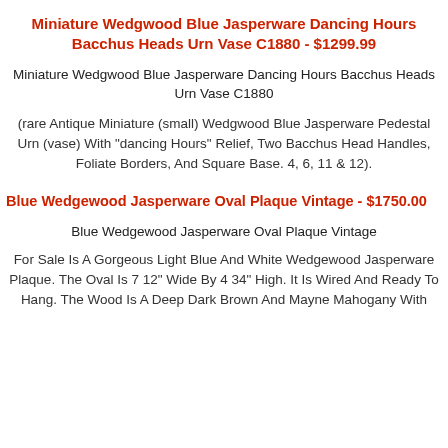Miniature Wedgwood Blue Jasperware Dancing Hours Bacchus Heads Urn Vase C1880 - $1299.99
Miniature Wedgwood Blue Jasperware Dancing Hours Bacchus Heads Urn Vase C1880
(rare Antique Miniature (small) Wedgwood Blue Jasperware Pedestal Urn (vase) With "dancing Hours" Relief, Two Bacchus Head Handles, Foliate Borders, And Square Base. 4, 6, 11 & 12).
Blue Wedgewood Jasperware Oval Plaque Vintage - $1750.00
Blue Wedgewood Jasperware Oval Plaque Vintage
For Sale Is A Gorgeous Light Blue And White Wedgewood Jasperware Plaque. The Oval Is 7 12" Wide By 4 34" High. It Is Wired And Ready To Hang. The Wood Is A Deep Dark Brown And Mayne Mahogany With